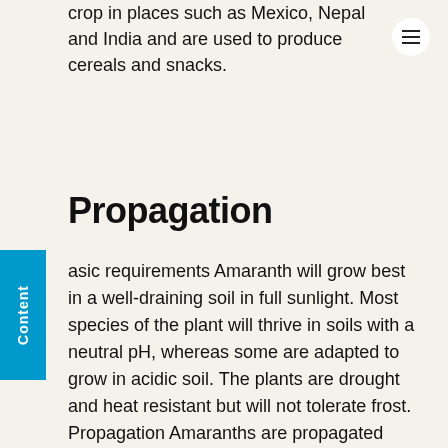crop in places such as Mexico, Nepal and India and are used to produce cereals and snacks.
Propagation
Basic requirements Amaranth will grow best in a well-draining soil in full sunlight. Most species of the plant will thrive in soils with a neutral pH, whereas some are adapted to grow in acidic soil. The plants are drought and heat resistant but will not tolerate frost. Propagation Amaranths are propagated from seed and can be started indoors for transplanting or direct seeded. Transplants can be started approximately 6